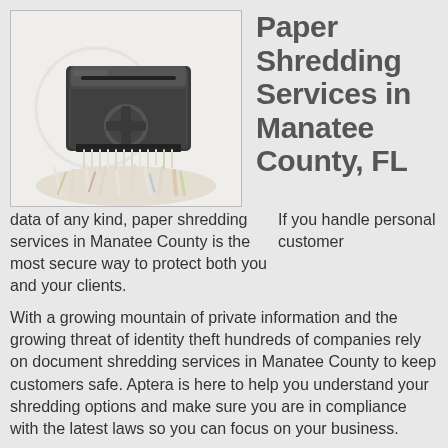[Figure (photo): A paper shredder machine with shredded paper scattered around it on a white background, with a watermark logo visible.]
Paper Shredding Services in Manatee County, FL
If you handle personal customer data of any kind, paper shredding services in Manatee County is the most secure way to protect both you and your clients.
With a growing mountain of private information and the growing threat of identity theft hundreds of companies rely on document shredding services in Manatee County to keep customers safe. Aptera is here to help you understand your shredding options and make sure you are in compliance with the latest laws so you can focus on your business.